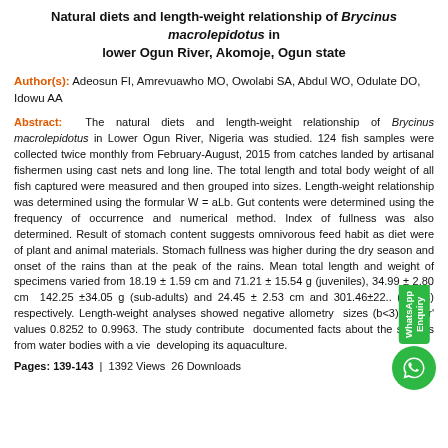Natural diets and length-weight relationship of Brycinus macrolepidotus in lower Ogun River, Akomoje, Ogun state
Author(s): Adeosun FI, Amrevuawho MO, Owolabi SA, Abdul WO, Odulate DO, Idowu AA
Abstract: The natural diets and length-weight relationship of Brycinus macrolepidotus in Lower Ogun River, Nigeria was studied. 124 fish samples were collected twice monthly from February-August, 2015 from catches landed by artisanal fishermen using cast nets and long line. The total length and total body weight of all fish captured were measured and then grouped into sizes. Length-weight relationship was determined using the formular W = aLb. Gut contents were determined using the frequency of occurrence and numerical method. Index of fullness was also determined. Result of stomach content suggests omnivorous feed habit as diet were of plant and animal materials. Stomach fullness was higher during the dry season and onset of the rains than at the peak of the rains. Mean total length and weight of specimens varied from 18.19 ± 1.59 cm and 71.21 ± 15.54 g (juveniles), 34.99 ± 2.80 cm and 142.25 ±34.05 g (sub-adults) and 24.45 ± 2.53 cm and 301.46±22... (adults) respectively. Length-weight analyses showed negative allometry for sizes (b<3) and 'r' values 0.8252 to 0.9963. The study contributed documented facts about the species from water bodies with a view developing its aquaculture.
Pages: 139-143  |  1392 Views  26 Downloads